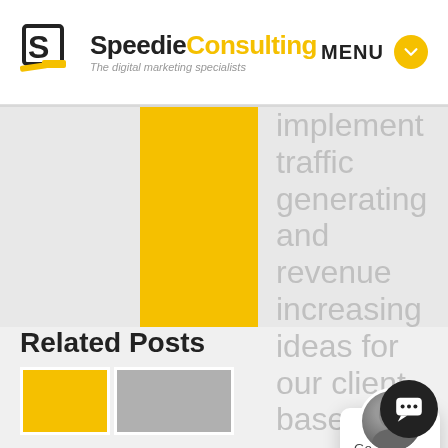[Figure (logo): Speedie Consulting logo with stylized S icon and tagline 'The digital marketing specialists']
MENU
implement traffic generating and revenue increasing ideas for our client base.
[Figure (photo): Chat popup with avatar photo of a man and message 'Got any questions? I'm happy to help.']
Related Posts
[Figure (photo): Related posts thumbnail images - yellow and gray placeholders]